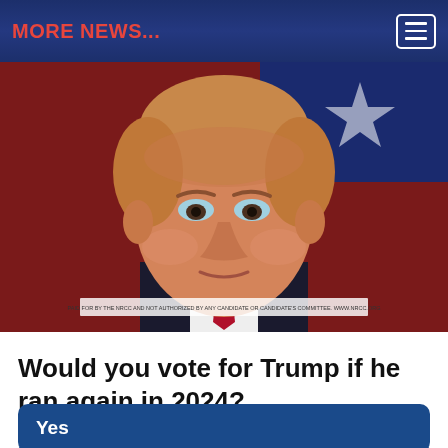MORE NEWS...
[Figure (photo): Close-up portrait of a man with blonde-red hair in a suit, serious expression, with a red and blue flag in the background. A disclaimer bar at the bottom reads: PAID FOR BY THE NRCC AND NOT AUTHORIZED BY ANY CANDIDATE OR CANDIDATE'S COMMITTEE. WWW.NRCC.ORG]
PAID FOR BY THE NRCC AND NOT AUTHORIZED BY ANY CANDIDATE OR CANDIDATE'S COMMITTEE. WWW.NRCC.ORG
Would you vote for Trump if he ran again in 2024?
Yes